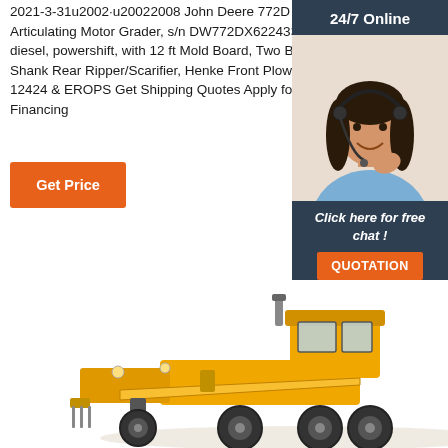2021-3-31u2002·u20022008 John Deere 772D 6x6 Articulating Motor Grader, s/n DW772DX622433, J.D. diesel, powershift, with 12 ft Mold Board, Two Barrel 3 Shank Rear Ripper/Scarifier, Henke Front Plow, s/n 12424 & EROPS Get Shipping Quotes Apply for Financing
[Figure (other): Orange 'Get Price' button]
[Figure (photo): Sidebar panel with '24/7 Online' header, photo of a smiling woman with headset, 'Click here for free chat!' text, and orange QUOTATION button]
[Figure (photo): Yellow John Deere 772D motor grader photographed from the side, visible cab and blade]